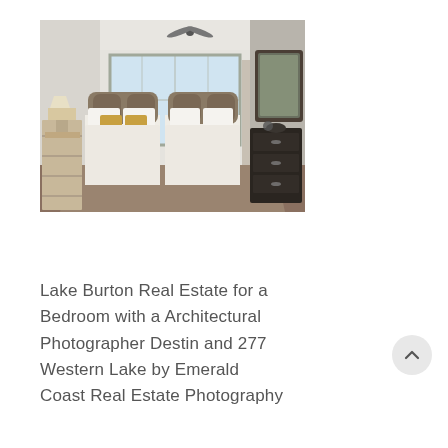[Figure (photo): Interior bedroom photo showing a bright room with two beds with ornate headboards, white bedding, decorative pillows, a ceiling fan, large windows letting in natural light, a side table with a lamp, open shelving on the left, and a dark dresser on the right.]
Lake Burton Real Estate for a Bedroom with a Architectural Photographer Destin and 277 Western Lake by Emerald Coast Real Estate Photography